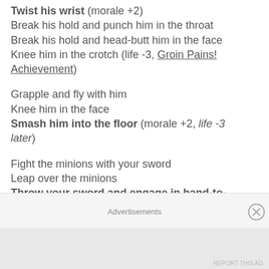Twist his wrist (morale +2)
Break his hold and punch him in the throat
Break his hold and head-butt him in the face
Knee him in the crotch (life -3, Groin Pains! Achievement)
Grapple and fly with him
Knee him in the face
Smash him into the floor (morale +2, life -3 later)
Fight the minions with your sword
Leap over the minions
Throw your sword and engage in hand-to-hand (morale +2, life -3 later)
Advertisements